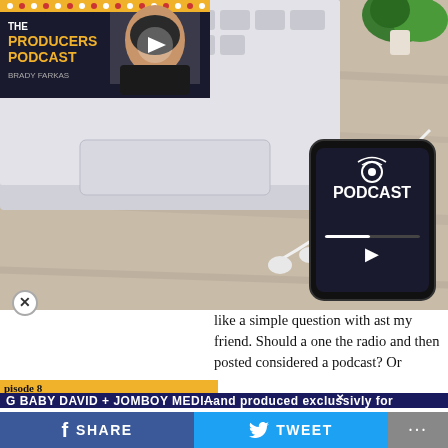[Figure (photo): A smartphone showing a podcast app interface on a wooden desk, next to a MacBook laptop, white earbuds, and a potted plant in the background.]
[Figure (screenshot): Thumbnail image for 'The Producers Podcast' Episode 8 featuring Big Baby David and Jomboy Media, with a man in a black jacket and a play button overlay.]
like a simple question with ast my friend. Should a one the radio and then posted considered a podcast? Or should only programs created and produced exclusivly for download be considered podcasts? Do they have to be
Episode 8
BIG BABY DAVID + JOMBOY MEDIA